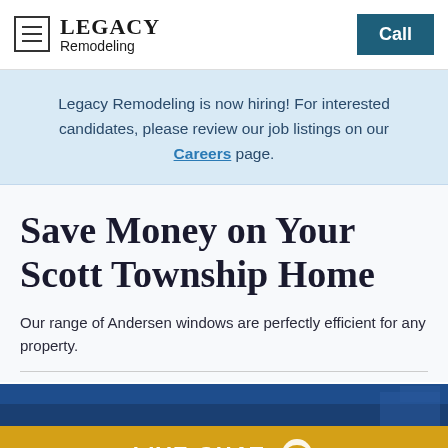LEGACY Remodeling | Call
Legacy Remodeling is now hiring! For interested candidates, please review our job listings on our Careers page.
Save Money on Your Scott Township Home
Our range of Andersen windows are perfectly efficient for any property.
[Figure (photo): Blue image strip showing a house exterior]
LIVE CHAT